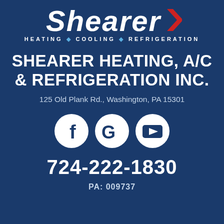[Figure (logo): Shearer logo with italic bold white text and red chevron/checkmark element, with tagline HEATING COOLING REFRIGERATION below]
SHEARER HEATING, A/C & REFRIGERATION INC.
125 Old Plank Rd., Washington, PA 15301
[Figure (other): Three white social media icons on circular white backgrounds: Facebook f logo, Google G logo, YouTube play button logo]
724-222-1830
PA: 009737